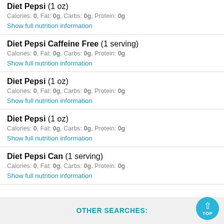Diet Pepsi (1 oz)
Calories: 0, Fat: 0g, Carbs: 0g, Protein: 0g
Show full nutrition information
Diet Pepsi Caffeine Free (1 serving)
Calories: 0, Fat: 0g, Carbs: 0g, Protein: 0g
Show full nutrition information
Diet Pepsi (1 oz)
Calories: 0, Fat: 0g, Carbs: 0g, Protein: 0g
Show full nutrition information
Diet Pepsi (1 oz)
Calories: 0, Fat: 0g, Carbs: 0g, Protein: 0g
Show full nutrition information
Diet Pepsi Can (1 serving)
Calories: 0, Fat: 0g, Carbs: 0g, Protein: 0g
Show full nutrition information
OTHER SEARCHES: